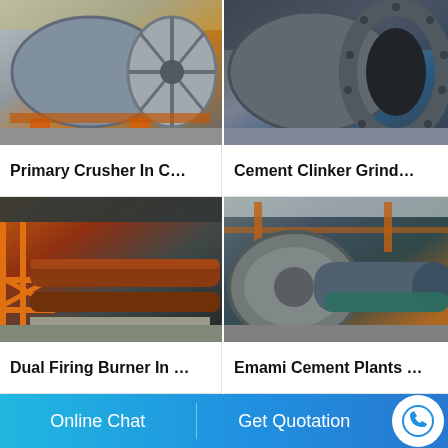[Figure (photo): Industrial rotary drum / crusher equipment in a factory warehouse, large circular disc end visible, orange support structure]
Primary Crusher In C…
[Figure (photo): Cement clinker grinding mill end with circular bolt flange pattern, industrial factory background]
Cement Clinker Grind…
[Figure (photo): Dual firing burner long cylindrical rotary kiln inside industrial shed with orange metal framework]
Dual Firing Burner In …
[Figure (photo): Emami cement plant large rotary kiln drum in factory hall with orange pipes overhead]
Emami Cement Plants …
Online Chat
Get Quotation